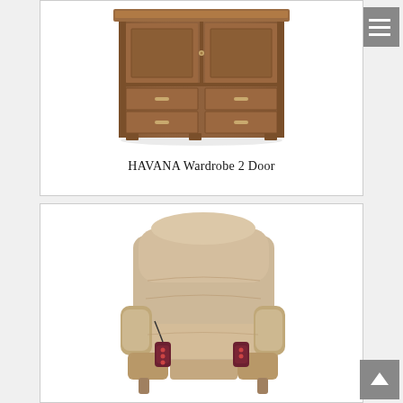[Figure (photo): Photo of HAVANA Wardrobe 2 Door — a brown wooden wardrobe with two upper cabinet doors and four lower drawers with small handles, displayed on a white background.]
HAVANA Wardrobe 2 Door
[Figure (photo): Photo of a beige/taupe fabric recliner/lift chair with padded armrests and two dark maroon remote controls attached via cables on the armrests.]